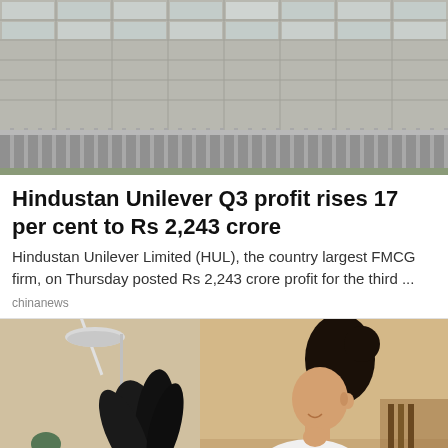[Figure (photo): Exterior of a large modern office building with glass facade and metal railing fence at the bottom]
Hindustan Unilever Q3 profit rises 17 per cent to Rs 2,243 crore
Hindustan Unilever Limited (HUL), the country largest FMCG firm, on Thursday posted Rs 2,243 crore profit for the third ...
chinanews
[Figure (photo): A woman with dark hair in a bun, smiling, wearing a white polka dot top, sitting at a desk with a modern lamp and dark plant in the foreground]